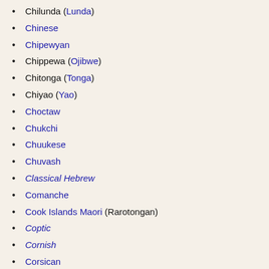Chilunda (Lunda)
Chinese
Chipewyan
Chippewa (Ojibwe)
Chitonga (Tonga)
Chiyao (Yao)
Choctaw
Chukchi
Chuukese
Chuvash
Classical Hebrew
Comanche
Cook Islands Maori (Rarotongan)
Coptic
Cornish
Corsican
Cree
Creek (Muscogee)